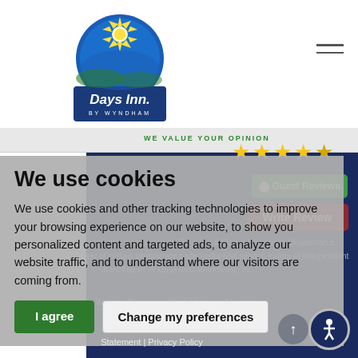[Figure (logo): Days Inn by Wyndham logo — circular emblem with sun rays above a blue rectangle bearing the brand name]
We use cookies
We use cookies and other tracking technologies to improve your browsing experience on our website, to show you personalized content and targeted ads, to analyze our website traffic, and to understand where our visitors are coming from.
I agree
Change my preferences
This website is owned and maintained by Days Inn & Suites Wyndham Onalaska/La Crosse, a licensed user of certain proprietary trademarks and service marks of independent franchisees of Days Inns Worldwide, Inc.
Website Design and Hotel Internet Marketing Cyberweb Hotels LLC
Privacy Policy